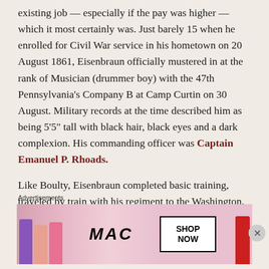existing job — especially if the pay was higher — which it most certainly was. Just barely 15 when he enrolled for Civil War service in his hometown on 20 August 1861, Eisenbraun officially mustered in at the rank of Musician (drummer boy) with the 47th Pennsylvania's Company B at Camp Curtin on 30 August. Military records at the time described him as being 5'5" tall with black hair, black eyes and a dark complexion. His commanding officer was Captain Emanuel P. Rhoads.
Like Boulty, Eisenbraun completed basic training, traveled by train with his regiment to the Washington, D.C. area in mid-September, and then
Advertisements
[Figure (other): Advertisement banner for MAC cosmetics showing lipsticks in purple, peach, and pink colors on the left, MAC logo in the center, a SHOP NOW button box, and a red lipstick on the right.]